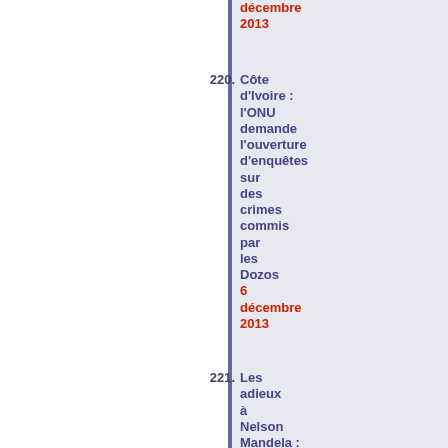décembre 2013
220. Côte d'Ivoire : l'ONU demande l'ouverture d'enquêtes sur des crimes commis par les Dozos 6 décembre 2013
221. Les adieux à Nelson Mandela : l'Afrique du Sud enterre son